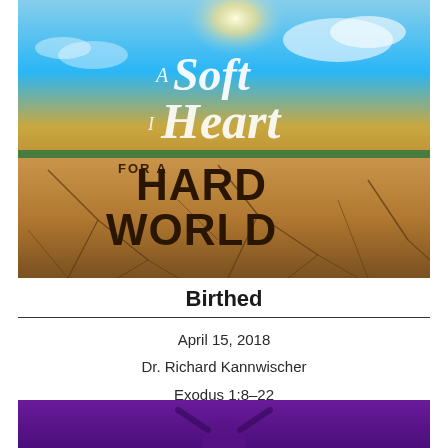[Figure (illustration): Promotional image for sermon series 'A Soft Heart for a Hard World' showing a cracked dry earth landscape with bright sky and sun, with large stylized white and dark brown text overlaid reading 'A Soft Heart for a Hard World']
Birthed
April 15, 2018
Dr. Richard Kannwischer
Exodus 1:8–22
[Figure (photo): Bottom portion of a second image with purple/violet tones, partially visible, showing hands raised]